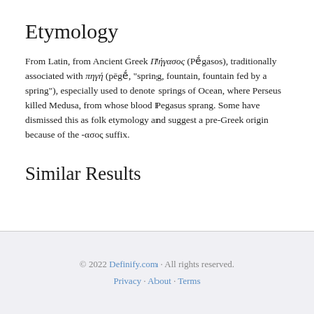Etymology
From Latin, from Ancient Greek Πήγασος (Pḗgasos), traditionally associated with πηγή (pēgḗ, "spring, fountain, fountain fed by a spring"), especially used to denote springs of Ocean, where Perseus killed Medusa, from whose blood Pegasus sprang. Some have dismissed this as folk etymology and suggest a pre-Greek origin because of the -ασος suffix.
Similar Results
© 2022 Definify.com · All rights reserved. Privacy · About · Terms